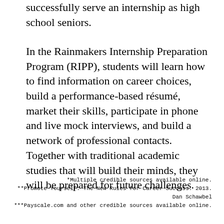successfully serve an internship as high school seniors.
In the Rainmakers Internship Preparation Program (RIPP), students will learn how to find information on career choices, build a performance-based résumé, market their skills, participate in phone and live mock interviews, and build a network of professional contacts. Together with traditional academic studies that will build their minds, they will be prepared for future challenges.
*Multiple credible sources available online.
**Promote Yourself: The New Rules for Career Success. 2013. Dan Schawbel
***Payscale.com and other credible sources available online.